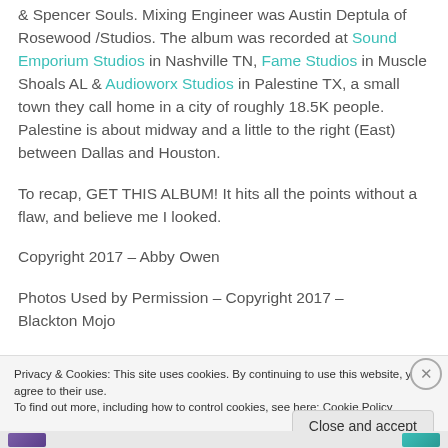& Spencer Souls. Mixing Engineer was Austin Deptula of Rosewood /Studios. The album was recorded at Sound Emporium Studios in Nashville TN, Fame Studios in Muscle Shoals AL & Audioworx Studios in Palestine TX, a small town they call home in a city of roughly 18.5K people. Palestine is about midway and a little to the right (East) between Dallas and Houston.
To recap, GET THIS ALBUM! It hits all the points without a flaw, and believe me I looked.
Copyright 2017 – Abby Owen
Photos Used by Permission – Copyright 2017 – Blackton Mojo
Privacy & Cookies: This site uses cookies. By continuing to use this website, you agree to their use. To find out more, including how to control cookies, see here: Cookie Policy